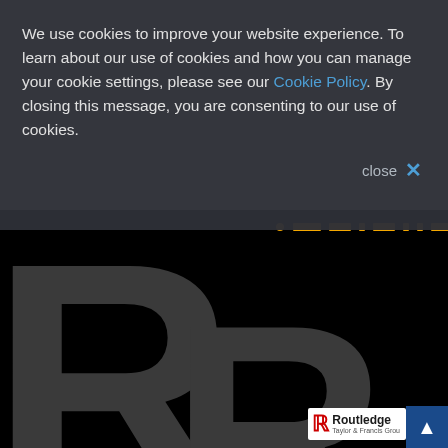We use cookies to improve your website experience. To learn about our use of cookies and how you can manage your cookie settings, please see our Cookie Policy. By closing this message, you are consenting to our use of cookies.
close ×
[Figure (screenshot): Routledge website background showing large dark grey letter R on black background with yellow dashed line element and Routledge Taylor & Francis Group logo at bottom right]